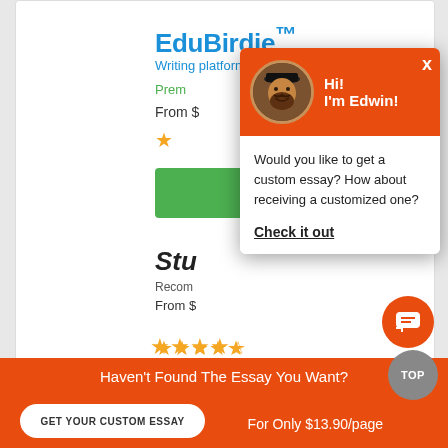EduBirdie™
Writing platform
Prem...
From $...
Stu...
Recom...
From $...
[Figure (screenshot): Chat popup overlay with orange header showing avatar photo and text 'Hi! I'm Edwin!' with close X button, body with text 'Would you like to get a custom essay? How about receiving a customized one?' and 'Check it out' underlined link]
Haven't Found The Essay You Want?
GET YOUR CUSTOM ESSAY
For Only $13.90/page